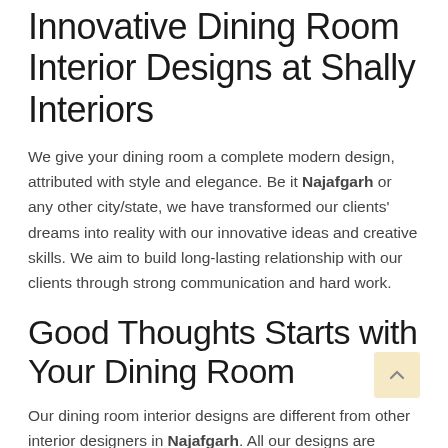Innovative Dining Room Interior Designs at Shally Interiors
We give your dining room a complete modern design, attributed with style and elegance. Be it Najafgarh or any other city/state, we have transformed our clients' dreams into reality with our innovative ideas and creative skills. We aim to build long-lasting relationship with our clients through strong communication and hard work.
Good Thoughts Starts with Your Dining Room
Our dining room interior designs are different from other interior designers in Najafgarh. All our designs are inspired by the international patterns and trends. Our offered dining space designs manifest style and sophistication in every part.
We Believe in Designs with